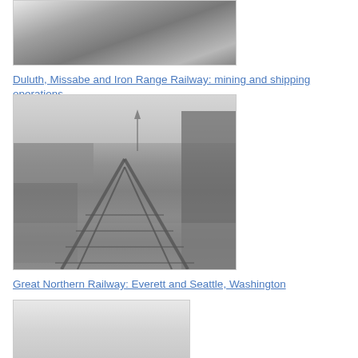[Figure (photo): Black and white photograph of a rocky/earthen hillside or mining excavation, partial view at top of page]
Duluth, Missabe and Iron Range Railway: mining and shipping operations
[Figure (photo): Black and white photograph of railway tracks leading into a city with industrial buildings and church spires visible in the background, warehouses on the left]
Great Northern Railway: Everett and Seattle, Washington
[Figure (photo): Black and white photograph, partial view, appears light/blank, possibly a building or structure]